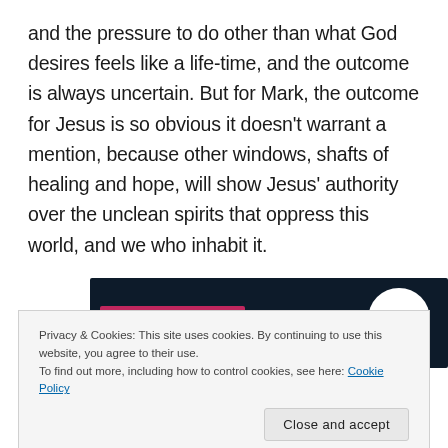and the pressure to do other than what God desires feels like a life-time, and the outcome is always uncertain. But for Mark, the outcome for Jesus is so obvious it doesn't warrant a mention, because other windows, shafts of healing and hope, will show Jesus' authority over the unclean spirits that oppress this world, and we who inhabit it.
[Figure (photo): Partial view of a dark navy background image with a pink/magenta horizontal bar and a white circle on the right side.]
Privacy & Cookies: This site uses cookies. By continuing to use this website, you agree to their use.
To find out more, including how to control cookies, see here: Cookie Policy